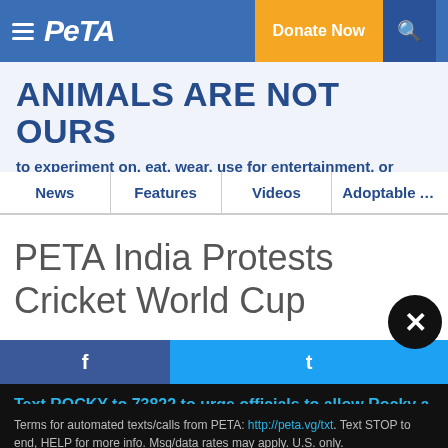PETA — Donate Now
ANIMALS ARE NOT OURS to experiment on, eat, wear, use for entertainment, or abuse in any other way.
News | Features | Videos | Adoptable Anim
PETA India Protests Cricket World Cup
Text ROCKY to 73822 to urge officials to allow Rocky a lone coyote, who is pacing in apparent distress in a tiny cage, to move to an accredited sanctuary.
Terms for automated texts/calls from PETA: http://peta.vg/txt. Text STOP to end, HELP for more info. Msg/data rates may apply. U.S. only.